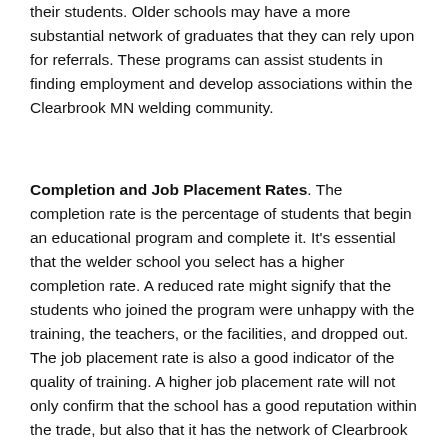their students. Older schools may have a more substantial network of graduates that they can rely upon for referrals. These programs can assist students in finding employment and develop associations within the Clearbrook MN welding community.
Completion and Job Placement Rates. The completion rate is the percentage of students that begin an educational program and complete it. It’s essential that the welder school you select has a higher completion rate. A reduced rate might signify that the students who joined the program were unhappy with the training, the teachers, or the facilities, and dropped out. The job placement rate is also a good indicator of the quality of training. A higher job placement rate will not only confirm that the school has a good reputation within the trade, but also that it has the network of Clearbrook MN employer relationships to assist students obtain employment or apprenticeships after graduation.